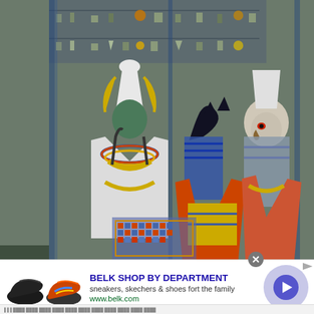[Figure (photo): Ancient Egyptian wall painting showing three deities: Osiris (seated, green-skinned, wearing white atef crown, holding crook and flail), Anubis (standing, black jackal head, colorful robes), and Horus (standing, falcon head with red eye, colorful robes). Hieroglyphics visible in background on grey stone wall.]
[Figure (screenshot): Online advertisement for Belk Shop by Department. Shows two sneakers (black and multicolored), bold blue text 'BELK SHOP BY DEPARTMENT', subtitle 'sneakers, skechers & shoes fort the family', URL 'www.belk.com', and a purple circular call-to-action button with a right arrow. A grey close button (X) appears in the top right of the ad.]